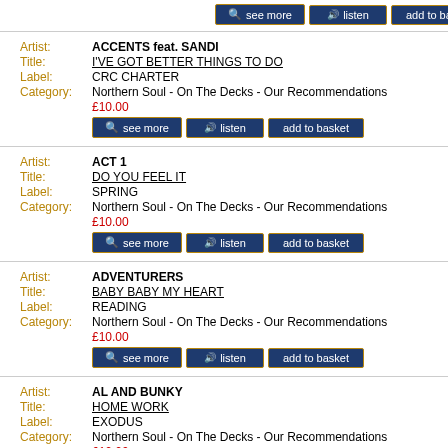Artist: ACCENTS feat. SANDI | Title: I'VE GOT BETTER THINGS TO DO | Label: CRC CHARTER | Category: Northern Soul - On The Decks - Our Recommendations | £10.00
Artist: ACT 1 | Title: DO YOU FEEL IT | Label: SPRING | Category: Northern Soul - On The Decks - Our Recommendations | £10.00
Artist: ADVENTURERS | Title: BABY BABY MY HEART | Label: READING | Category: Northern Soul - On The Decks - Our Recommendations | £10.00
Artist: AL AND BUNKY | Title: HOME WORK | Label: EXODUS | Category: Northern Soul - On The Decks - Our Recommendations | £10.00